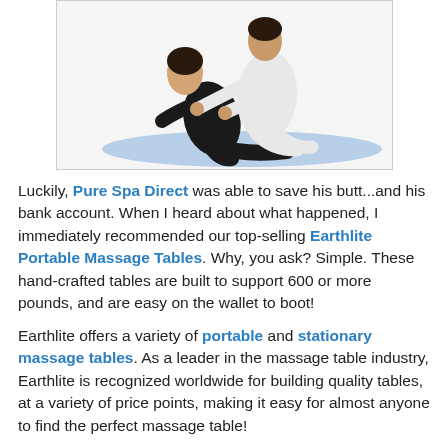[Figure (photo): A woman in black clothing receiving a Thai massage stretch from a therapist in white, on a light blue mat, white background.]
Luckily, Pure Spa Direct was able to save his butt...and his bank account. When I heard about what happened, I immediately recommended our top-selling Earthlite Portable Massage Tables. Why, you ask? Simple. These hand-crafted tables are built to support 600 or more pounds, and are easy on the wallet to boot!
Earthlite offers a variety of portable and stationary massage tables. As a leader in the massage table industry, Earthlite is recognized worldwide for building quality tables, at a variety of price points, making it easy for almost anyone to find the perfect massage table!
Searching for a great deal on an upcoming Earthlite Portable...